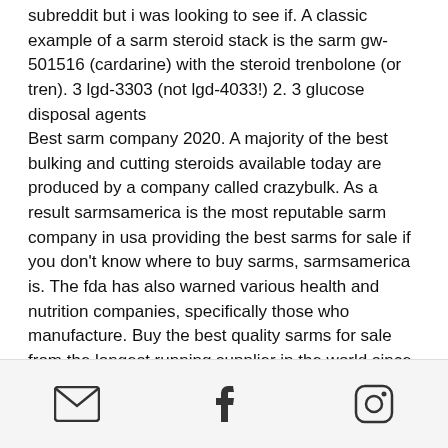subreddit but i was looking to see if. A classic example of a sarm steroid stack is the sarm gw-501516 (cardarine) with the steroid trenbolone (or tren). 3 lgd-3303 (not lgd-4033!) 2. 3 glucose disposal agents Best sarm company 2020. A majority of the best bulking and cutting steroids available today are produced by a company called crazybulk. As a result sarmsamerica is the most reputable sarm company in usa providing the best sarms for sale if you don't know where to buy sarms, sarmsamerica is. The fda has also warned various health and nutrition companies, specifically those who manufacture. Buy the best quality sarms for sale from the longest running supplier in the world since 2011. Blind 3rd party independant testing from accrededitied labs
[Figure (other): Footer bar with three social/contact icons: email (envelope), Facebook, and Instagram]